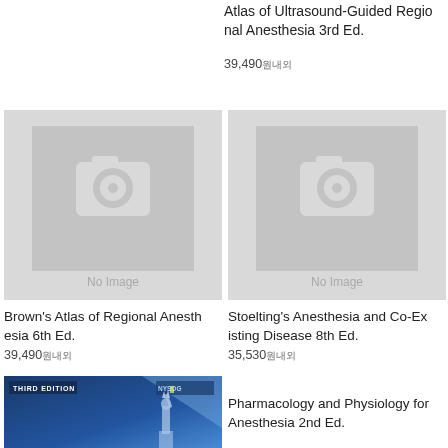Atlas of Ultrasound-Guided Regional Anesthesia 3rd Ed.
39,490원내외
[Figure (photo): No Image placeholder box with camera icon for Brown's Atlas of Regional Anesthesia 6th Ed.]
Brown's Atlas of Regional Anesthesia 6th Ed.
39,490원내외
[Figure (photo): No Image placeholder box with camera icon for Stoelting's Anesthesia and Co-Existing Disease 8th Ed.]
Stoelting's Anesthesia and Co-Existing Disease 8th Ed.
35,530원내외
[Figure (photo): Partial book cover image for Pharmacology and Physiology for Anesthesia 2nd Ed., showing Third Edition NYSOG branding with Statue of Liberty]
Pharmacology and Physiology for Anesthesia 2nd Ed.